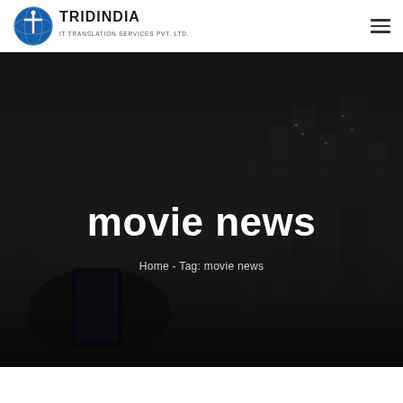[Figure (logo): Tridindia IT Translation Services Pvt. Ltd. logo with globe icon and company name]
[Figure (illustration): Hamburger menu icon (three horizontal lines) in top right corner]
[Figure (photo): Dark cityscape background with person holding a smartphone, used as hero banner background]
movie news
Home - Tag: movie news